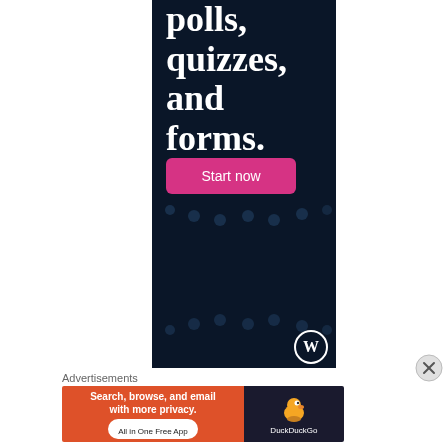[Figure (screenshot): Dark navy blue advertisement banner with large white serif text reading 'polls, quizzes, and forms.' followed by a pink 'Start now' button and decorative dot grid patterns, with a WordPress logo at the bottom]
[Figure (infographic): Close/X button circle icon in gray]
Advertisements
[Figure (screenshot): DuckDuckGo advertisement banner: orange left side with text 'Search, browse, and email with more privacy. All in One Free App', dark right side with DuckDuckGo duck logo and brand name]